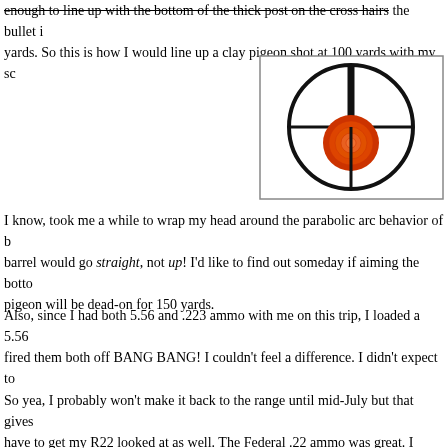enough to line up with the bottom of the thick post on the cross hairs the bullet i… yards. So this is how I would line up a clay pigeon shot at 100 yards with my sc…
[Figure (illustration): Rifle scope crosshair illustration showing a circular scope view with crosshairs and a red clay pigeon target centered slightly below the crosshair intersection]
I know, took me a while to wrap my head around the parabolic arc behavior of b… barrel would go straight, not up! I'd like to find out someday if aiming the botto… pigeon will be dead-on for 150 yards.
Also, since I had both 5.56 and .223 ammo with me on this trip, I loaded a 5.56 … fired them both off BANG BANG! I couldn't feel a difference. I didn't expect to…
So yea, I probably won't make it back to the range until mid-July but that gives … have to get my R22 looked at as well. The Federal .22 ammo was great. I hardl…